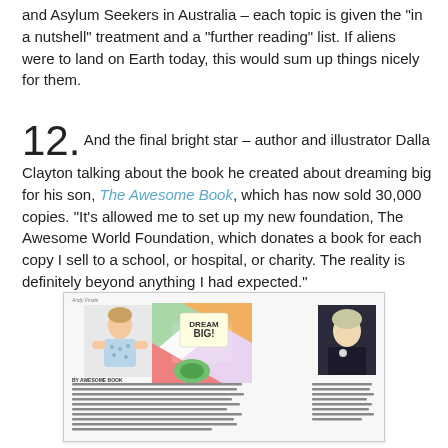and Asylum Seekers in Australia – each topic is given the "in a nutshell" treatment and a "further reading" list. If aliens were to land on Earth today, this would sum up things nicely for them.
12. And the final bright star – author and illustrator Dalla Clayton talking about the book he created about dreaming big for his son, The Awesome Book, which has now sold 30,000 copies. "It's allowed me to set up my new foundation, The Awesome World Foundation, which donates a book for each copy I sell to a school, or hospital, or charity. The reality is definitely beyond anything I had expected."
[Figure (photo): A magazine spread showing a child in a patterned outfit on the left, a colorful 'Dream Big!' book cover in the centre, and a portrait photo of a person on the right, with article text below.]